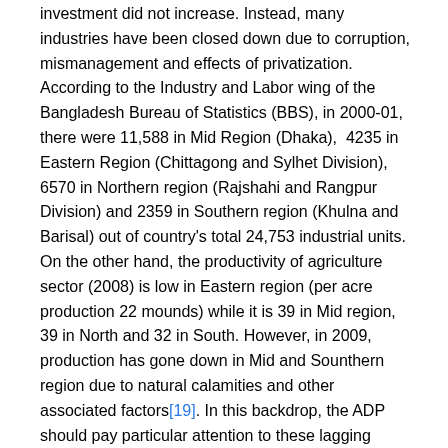investment did not increase. Instead, many industries have been closed down due to corruption, mismanagement and effects of privatization. According to the Industry and Labor wing of the Bangladesh Bureau of Statistics (BBS), in 2000-01, there were 11,588 in Mid Region (Dhaka),  4235 in Eastern Region (Chittagong and Sylhet Division), 6570 in Northern region (Rajshahi and Rangpur Division) and 2359 in Southern region (Khulna and Barisal) out of country's total 24,753 industrial units. On the other hand, the productivity of agriculture sector (2008) is low in Eastern region (per acre production 22 mounds) while it is 39 in Mid region, 39 in North and 32 in South. However, in 2009, production has gone down in Mid and Sounthern region due to natural calamities and other associated factors[19]. In this backdrop, the ADP should pay particular attention to these lagging regions in terms of increasing the investment.
Division-wise poverty rate (%) based on demand-led